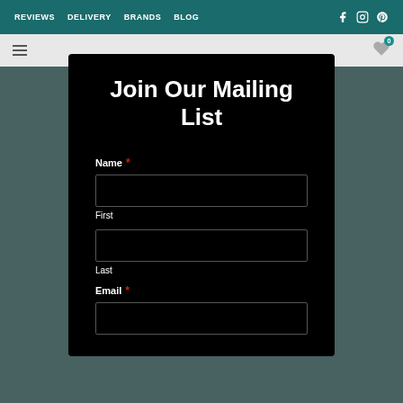REVIEWS   DELIVERY   BRANDS   BLOG
Join Our Mailing List
Name *
First
Last
Email *